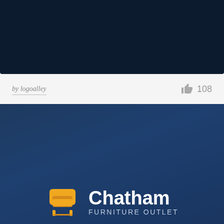[Figure (other): Dark navy background image panel at top of page]
by logoalley
108
[Figure (logo): Chatham Furniture Outlet logo on dark navy background. Features a yellow/amber armchair icon on the left and bold white text 'Chatham' with smaller spaced text 'FURNITURE OUTLET' below it on the right.]